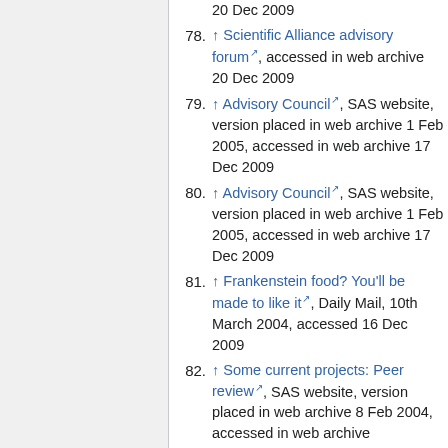20 Dec 2009
78. ↑ Scientific Alliance advisory forum, accessed in web archive 20 Dec 2009
79. ↑ Advisory Council, SAS website, version placed in web archive 1 Feb 2005, accessed in web archive 17 Dec 2009
80. ↑ Advisory Council, SAS website, version placed in web archive 1 Feb 2005, accessed in web archive 17 Dec 2009
81. ↑ Frankenstein food? You'll be made to like it, Daily Mail, 10th March 2004, accessed 16 Dec 2009
82. ↑ Some current projects: Peer review, SAS website, version placed in web archive 8 Feb 2004, accessed in web archive